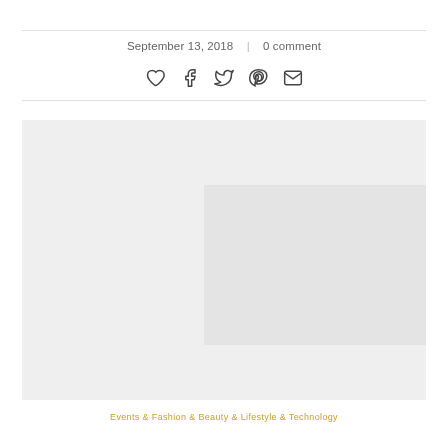September 13, 2018  |  0 comment
[Figure (other): Social sharing icons: heart, Facebook, Twitter, Pinterest, email]
[Figure (photo): A light grey placeholder image area, possibly a fashion/lifestyle photo not yet loaded, with a slightly darker grey panel on the right side]
Events & Fashion & Beauty & Lifestyle & Technology